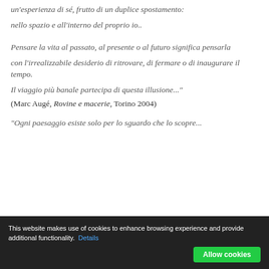un'esperienza di sé, frutto di un duplice spostamento:
nello spazio e all'interno del proprio io..
Pensare la vita al passato, al presente o al futuro significa pensarla
con l'irrealizzabile desiderio di ritrovare, di fermare o di inaugurare il tempo.
Il viaggio più banale partecipa di questa illusione..."
(Marc Augé, Rovine e macerie, Torino 2004)
"Ogni paesaggio esiste solo per lo sguardo che lo scopre...
This website makes use of cookies to enhance browsing experience and provide additional functionality. Details
Allow cookies